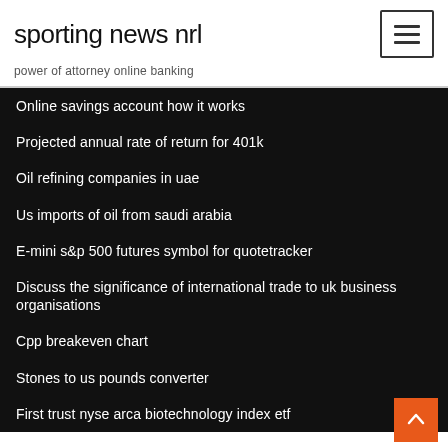sporting news nrl
power of attorney online banking
Online savings account how it works
Projected annual rate of return for 401k
Oil refining companies in uae
Us imports of oil from saudi arabia
E-mini s&p 500 futures symbol for quotetracker
Discuss the significance of international trade to uk business organisations
Cpp breakeven chart
Stones to us pounds converter
First trust nyse arca biotechnology index etf